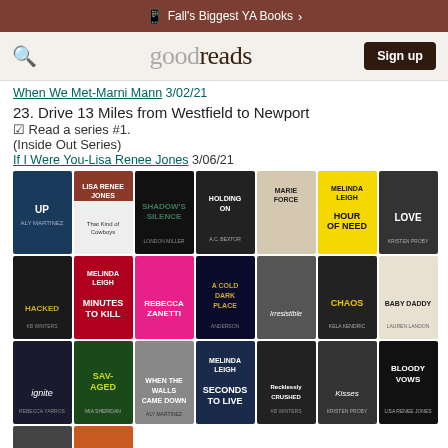Fall's Biggest YA Books
[Figure (screenshot): Goodreads navigation bar with search icon, goodreads logo, and Sign up button]
When We Met-Marni Mann 3/02/21
23. Drive 13 Miles from Westfield to Newport
☑ Read a series #1.
(Inside Out Series)
If I Were You-Lisa Renee Jones 3/06/21
[Figure (photo): Grid of book covers showing romance/thriller novels including: UP, Lisa Renee Jones Cowboys, Shadow's Silence, Holding On, Marie Force, Hour of Need (Melinda Leigh), Love (Kristen Proby), Hacked (KB Winters), Minutes to Kill (Melinda Leigh), Rebecca Zanetti, A Cold Dark Place (Anderson), Irresistible, Chaos (Kela Kendric), Baby Daddy (Lauren Landon), Ignite, Savaged (Mia Sheridan), When the Walls Came Down (M. Marie/Aly Martinez), Seconds to Live (Melinda Leigh), Recklessly Crushed (KB Winters), Kisses (Kristen Proby), Bloody Vows (Lisa Renee Jones)]